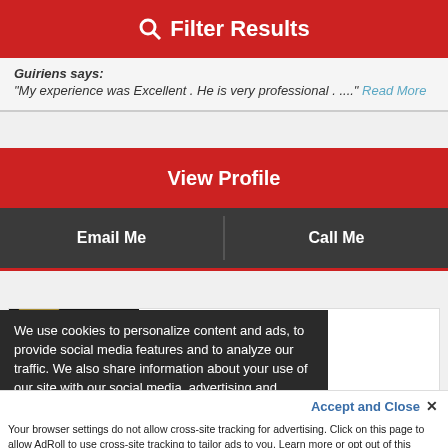Filter Results
Guiriens says: "My experience was Excellent . He is very professional . ...." Read More
View Profile
Email Me
Call Me
GYNA HERRERA
Miami, Fl
el Leaders Network Affiliate
ETWORK
We use cookies to personalize content and ads, to provide social media features and to analyze our traffic. We also share information about your use of our site with our social media, advertising and analytics partners. You can...
Accept and Close ✕
Your browser settings do not allow cross-site tracking for advertising. Click on this page to allow AdRoll to use cross-site tracking to tailor ads to you. Learn more or opt out of this AdRoll tracking by clicking here. This message only appears once.